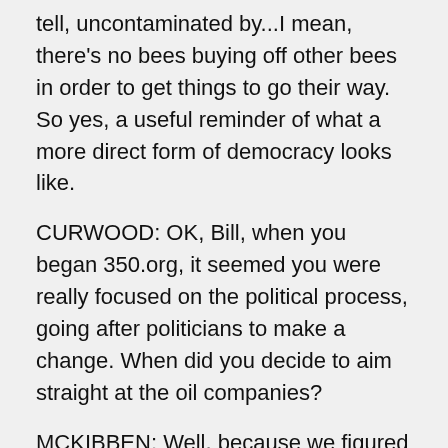tell, uncontaminated by...I mean, there's no bees buying off other bees in order to get things to go their way. So yes, a useful reminder of what a more direct form of democracy looks like.
CURWOOD: OK, Bill, when you began 350.org, it seemed you were really focused on the political process, going after politicians to make a change. When did you decide to aim straight at the oil companies?
MCKIBBEN: Well, because we figured out that the politicians were not independent actors in this case. When we've watched the Keystone thing, we can predict with unerring accuracy how politicians, how congressmen will vote. If you tell me how much money they took from the fossil fuel industry, I can tell you how they'll vote on virtually anything related to the energy industry. So we